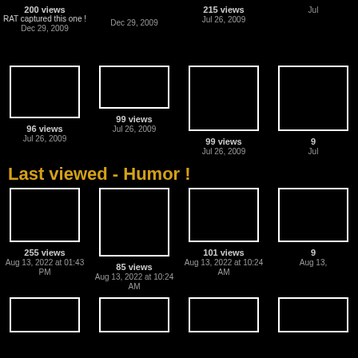[Figure (photo): Thumbnail image placeholder top row col 1]
200 views
RAT captured this one !
Dec 29, 2009
[Figure (photo): Thumbnail image placeholder top row col 2]
Dec 29, 2009
[Figure (photo): Thumbnail image placeholder top row col 3]
215 views
Jul 26, 2009
[Figure (photo): Thumbnail image placeholder top row col 4 (partial)]
Jul
[Figure (photo): Thumbnail image placeholder second row col 1]
96 views
Jul 26, 2009
[Figure (photo): Thumbnail image placeholder second row col 2]
99 views
Jul 26, 2009
[Figure (photo): Thumbnail image placeholder second row col 3]
99 views
Jul 26, 2009
[Figure (photo): Thumbnail image placeholder second row col 4 (partial)]
9
Jul
Last viewed - Humor !
[Figure (photo): Thumbnail image placeholder third row col 1]
255 views
Aug 13, 2022 at 01:43 PM
[Figure (photo): Thumbnail image placeholder third row col 2]
85 views
Aug 13, 2022 at 10:24 AM
[Figure (photo): Thumbnail image placeholder third row col 3]
101 views
Aug 13, 2022 at 10:24 AM
[Figure (photo): Thumbnail image placeholder third row col 4 (partial)]
96
Aug 13,
[Figure (photo): Thumbnail image placeholder bottom row col 1]
[Figure (photo): Thumbnail image placeholder bottom row col 2]
[Figure (photo): Thumbnail image placeholder bottom row col 3]
[Figure (photo): Thumbnail image placeholder bottom row col 4 (partial)]